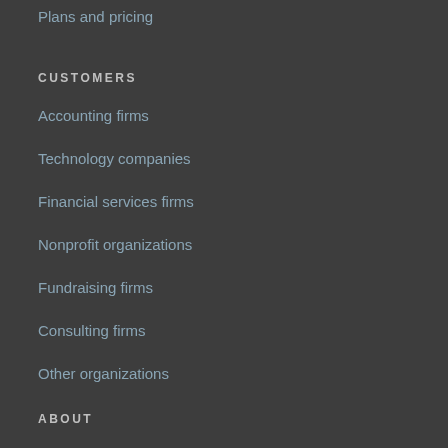Plans and pricing
CUSTOMERS
Accounting firms
Technology companies
Financial services firms
Nonprofit organizations
Fundraising firms
Consulting firms
Other organizations
ABOUT
Insights
Better data
Purpose-built tools
Integrations
About us